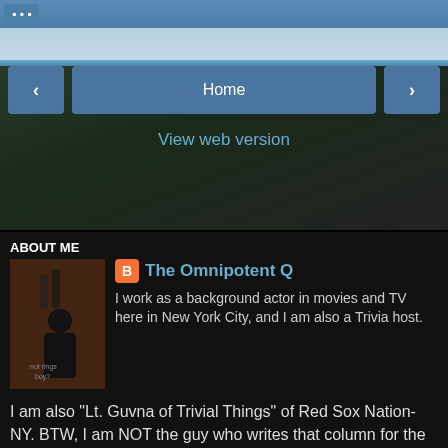Home | View web version
ABOUT ME
The Omnipotent Q
I work as a background actor in movies and TV here in New York City, and I am also a Trivia host.
I am also "Lt. Guvna of Trivial Things" of Red Sox Nation-NY. BTW, I am NOT the guy who writes that column for the New York Daily News. (He's not a Red Sox fan.) I also follow the New York Mets (NL), the Minnesota Vikings, the Notre Dame Fighting Irish, the New York Islanders and Liverpool FC (I was a fan long before John Henry took over), as my favorite sports teams.

I welcome all email (no spam please), especially if you'd like to exchange links or have any trivia feedback, at:
jbq1462@hotmail.com.